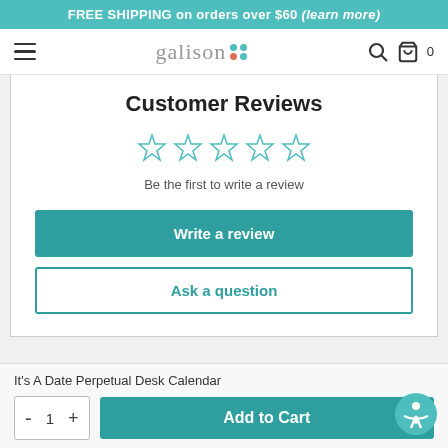FREE SHIPPING on orders over $60 (learn more)
[Figure (logo): Galison logo with teal and coral dot cluster]
Customer Reviews
[Figure (other): 5 empty teal star rating icons]
Be the first to write a review
Write a review
Ask a question
It's A Date Perpetual Desk Calendar
- 1 + Add to Cart